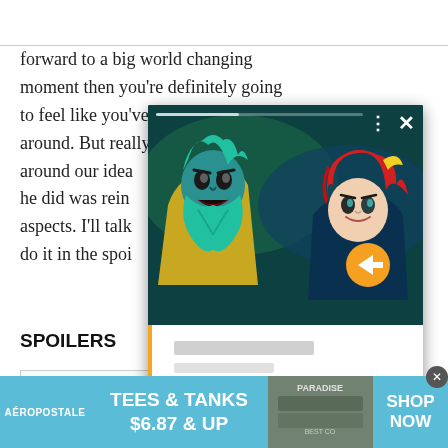forward to a big world changing moment then you're definitely going to feel like you've been jerked around. But really, what around our idea he did was rein aspects. I'll talk do it in the spoi
SPOILERS
[Figure (screenshot): Floating video player overlay showing animated cartoon characters — a teal-bearded older character and a red-haired younger character facing each other — with video controls (dots menu, close X button), a progress bar, and an orange next-arrow button. Below the video frame is a white info panel with an orange left border and grey placeholder bars for title and subtitle.]
+ Spoiler
[Figure (screenshot): Advertisement banner for Aéropostale showing 'TEES & TANKS $6.87 & UP' with SHOP NOW call to action, light blue background, and a photo of folded clothes on the right side.]